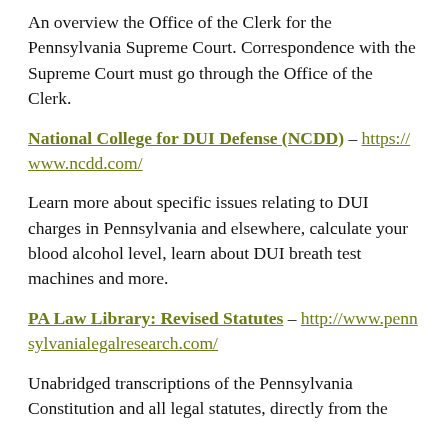An overview the Office of the Clerk for the Pennsylvania Supreme Court. Correspondence with the Supreme Court must go through the Office of the Clerk.
National College for DUI Defense (NCDD) – https://www.ncdd.com/
Learn more about specific issues relating to DUI charges in Pennsylvania and elsewhere, calculate your blood alcohol level, learn about DUI breath test machines and more.
PA Law Library: Revised Statutes – http://www.pennsylvanialegalresearch.com/
Unabridged transcriptions of the Pennsylvania Constitution and all legal statutes, directly from the